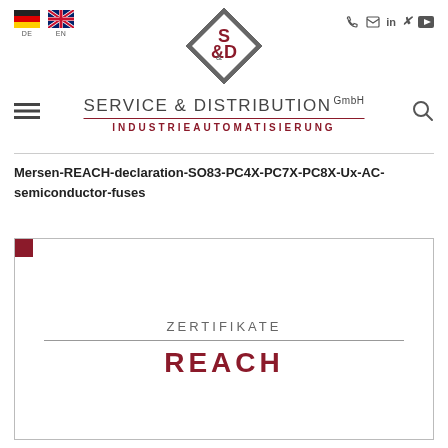[Figure (logo): S&D Service & Distribution GmbH Industrieautomatisierung logo with diamond shape]
Mersen-REACH-declaration-SO83-PC4X-PC7X-PC8X-Ux-AC-semiconductor-fuses
[Figure (other): Card with red corner marker showing ZERTIFIKATE / REACH label]